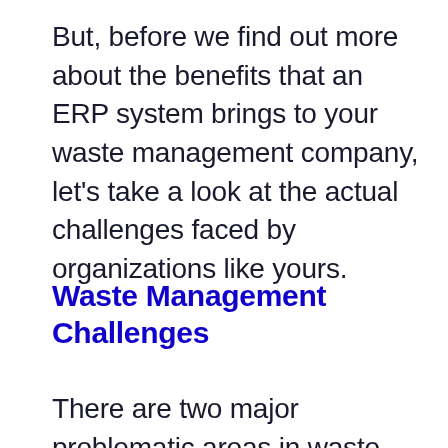But, before we find out more about the benefits that an ERP system brings to your waste management company, let's take a look at the actual challenges faced by organizations like yours.
Waste Management Challenges
There are two major problematic areas in waste management -